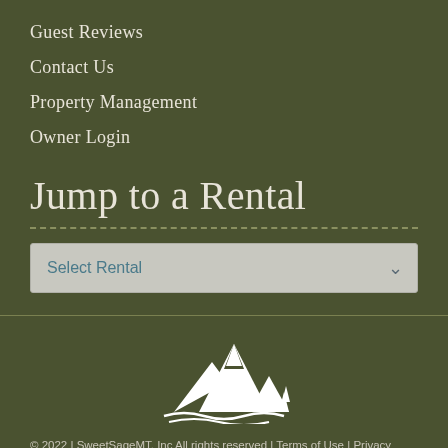Guest Reviews
Contact Us
Property Management
Owner Login
Jump to a Rental
[Figure (screenshot): Select Rental dropdown widget with light gray background and chevron arrow]
[Figure (logo): White mountain and trees logo for SweetSageMT]
© 2022 | SweetSageMT, Inc All rights reserved | Terms of Use | Privacy Policy | Sitemap | Owner Login